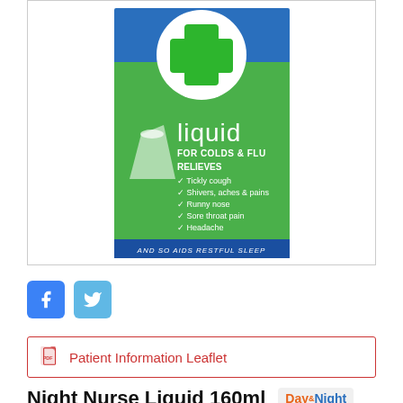[Figure (photo): Product packaging for Night Nurse Liquid showing a green medicine bottle box with a green cross on white circle at top, text 'liquid FOR COLDS & FLU RELIEVES Tickly cough, Shivers aches & pains, Runny nose, Sore throat pain, Headache AND SO AIDS RESTFUL SLEEP']
[Figure (other): Facebook and Twitter share buttons (blue square icons)]
Patient Information Leaflet
Night Nurse Liquid 160ml
[Figure (logo): Day & Night brand logo in orange and blue]